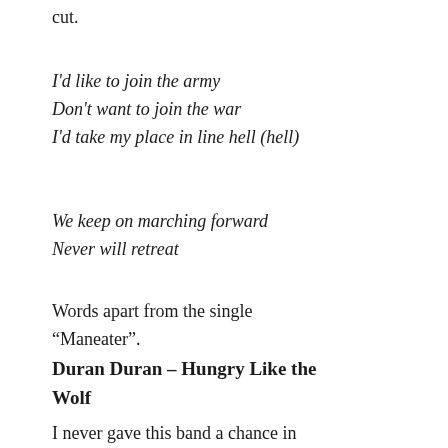cut.
I'd like to join the army
Don't want to join the war
I'd take my place in line hell (hell)
We keep on marching forward
Never will retreat
Words apart from the single “Maneater”.
Duran Duran – Hungry Like the Wolf
I never gave this band a chance in